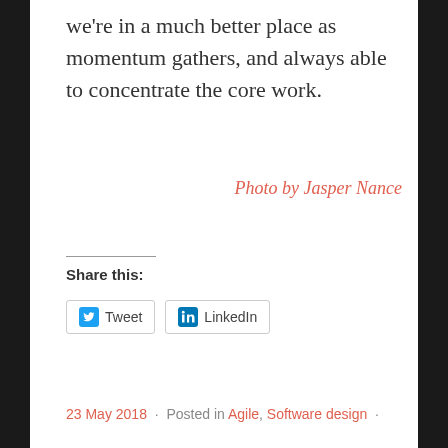we're in a much better place as momentum gathers, and always able to concentrate the core work.
Photo by Jasper Nance
Share this:
Tweet  LinkedIn
23 May 2018  ·  Posted in Agile, Software design  ·